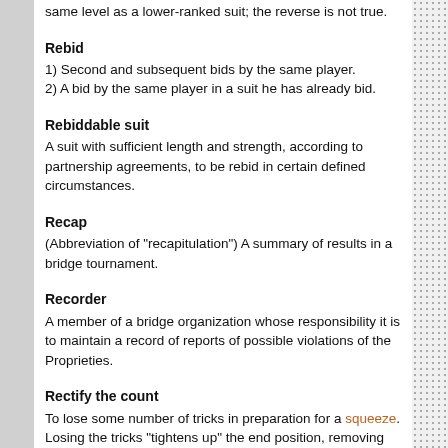same level as a lower-ranked suit; the reverse is not true.
Rebid
1) Second and subsequent bids by the same player.
2) A bid by the same player in a suit he has already bid.
Rebiddable suit
A suit with sufficient length and strength, according to partnership agreements, to be rebid in certain defined circumstances.
Recap
(Abbreviation of "recapitulation") A summary of results in a bridge tournament.
Recorder
A member of a bridge organization whose responsibility it is to maintain a record of reports of possible violations of the Proprieties.
Rectify the count
To lose some number of tricks in preparation for a squeeze. Losing the tricks "tightens up" the end position, removing idle